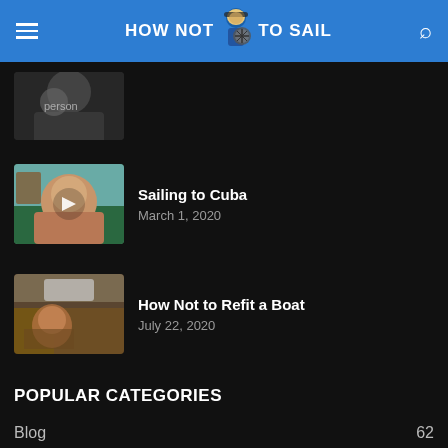HOW NOT TO SAIL
[Figure (photo): Partial view of a person, cropped video thumbnail]
[Figure (photo): Man with sunglasses and beard in outdoor/marina setting - Sailing to Cuba video thumbnail with play button overlay]
Sailing to Cuba
March 1, 2020
[Figure (photo): Interior of a boat being refitted - How Not to Refit a Boat video thumbnail]
How Not to Refit a Boat
July 22, 2020
POPULAR CATEGORIES
Blog 62
Podcast 45